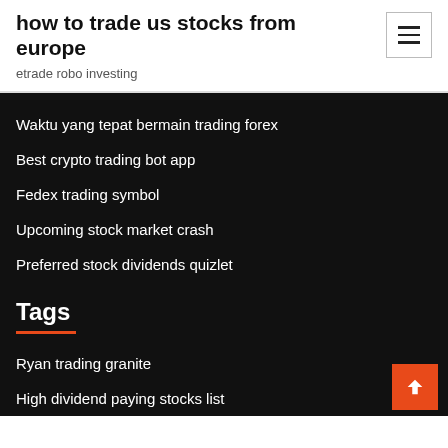how to trade us stocks from europe
etrade robo investing
Waktu yang tepat bermain trading forex
Best crypto trading bot app
Fedex trading symbol
Upcoming stock market crash
Preferred stock dividends quizlet
Tags
Ryan trading granite
High dividend paying stocks list